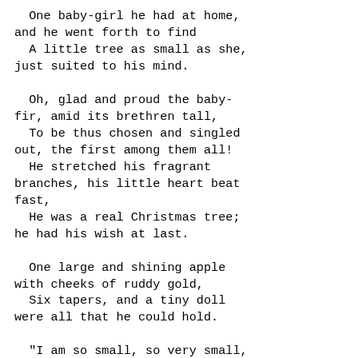One baby-girl he had at home,
and he went forth to find
  A little tree as small as she,
just suited to his mind.

  Oh, glad and proud the baby-
fir, amid its brethren tall,
  To be thus chosen and singled
out, the first among them all!
  He stretched his fragrant
branches, his little heart beat
fast,
  He was a real Christmas tree;
he had his wish at last.

  One large and shining apple
with cheeks of ruddy gold,
  Six tapers, and a tiny doll
were all that he could hold.

  "I am so small, so very small,
no one will mark or know
  How thick and green my needles
are, how true my branches grow;
  Few toys and candles could I